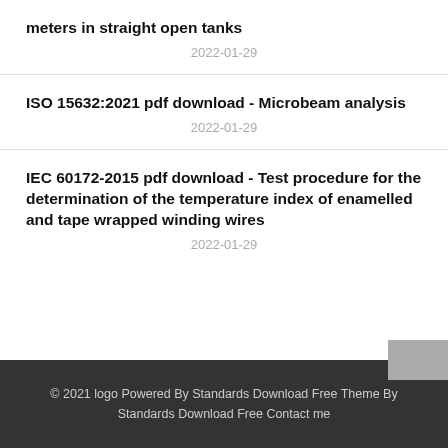meters in straight open tanks
2022-01-29
ISO 15632:2021 pdf download - Microbeam analysis
2022-01-29
IEC 60172-2015 pdf download - Test procedure for the determination of the temperature index of enamelled and tape wrapped winding wires
2022-01-29
© 2021 logo Powered By Standards Download Free Theme By Standards Download Free Contact me